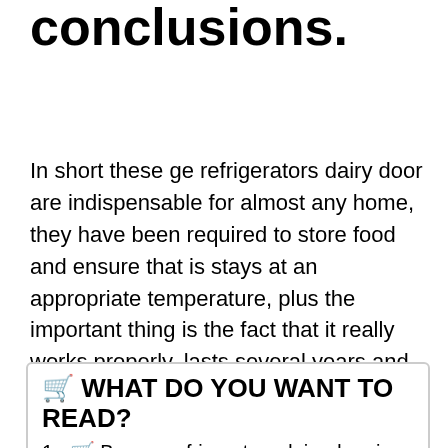conclusions.
In short these ge refrigerators dairy door are indispensable for almost any home, they have been required to store food and ensure that is stays at an appropriate temperature, plus the important thing is the fact that it really works properly, lasts several years and spends little electrical energy.
🛒 WHAT DO YOU WANT TO READ?
🛒 Buy ge refrigerators dairy door in our web